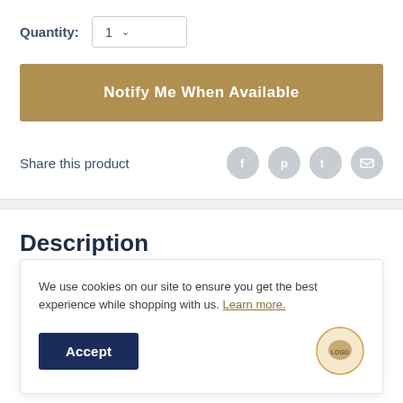Quantity: 1
Notify Me When Available
Share this product
Description
Product Information
We use cookies on our site to ensure you get the best experience while shopping with us. Learn more.
Accept